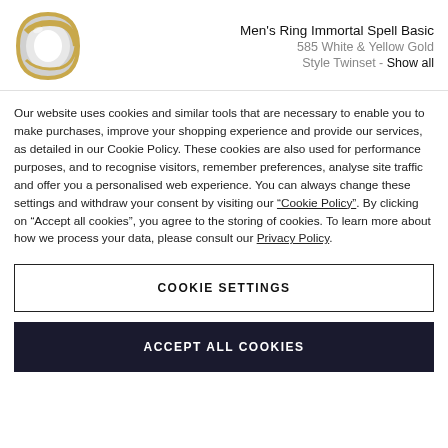[Figure (photo): A men's wedding ring in white and yellow gold shown at an angle]
Men's Ring Immortal Spell Basic
585 White & Yellow Gold
Style Twinset - Show all
Our website uses cookies and similar tools that are necessary to enable you to make purchases, improve your shopping experience and provide our services, as detailed in our Cookie Policy. These cookies are also used for performance purposes, and to recognise visitors, remember preferences, analyse site traffic and offer you a personalised web experience. You can always change these settings and withdraw your consent by visiting our “Cookie Policy”. By clicking on “Accept all cookies”, you agree to the storing of cookies. To learn more about how we process your data, please consult our Privacy Policy.
COOKIE SETTINGS
ACCEPT ALL COOKIES